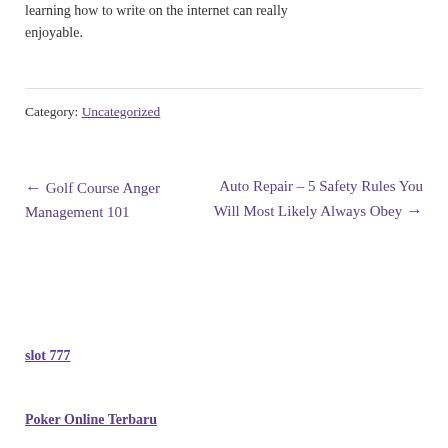learning how to write on the internet can really enjoyable.
Category: Uncategorized
← Golf Course Anger Management 101
Auto Repair – 5 Safety Rules You Will Most Likely Always Obey →
slot 777
Poker Online Terbaru